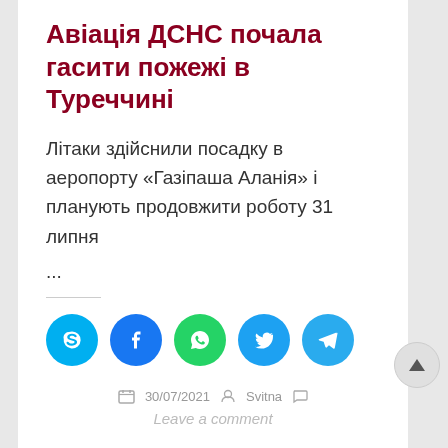Авіація ДСНС почала гасити пожежі в Туреччині
Літаки здійснили посадку в аеропорту «Газіпаша Аланія» і планують продовжити роботу 31 липня
...
[Figure (other): Social sharing buttons: Skype, Facebook, WhatsApp, Twitter, Telegram]
30/07/2021  Svitna  Leave a comment